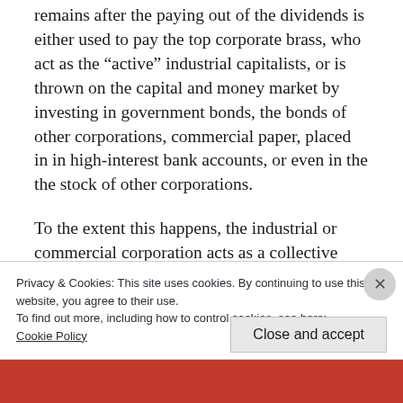remains after the paying out of the dividends is either used to pay the top corporate brass, who act as the “active” industrial capitalists, or is thrown on the capital and money market by investing in government bonds, the bonds of other corporations, commercial paper, placed in in high-interest bank accounts, or even in the the stock of other corporations.
To the extent this happens, the industrial or commercial corporation acts as a collective
Privacy & Cookies: This site uses cookies. By continuing to use this website, you agree to their use.
To find out more, including how to control cookies, see here:
Cookie Policy
Close and accept